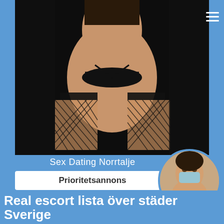[Figure (photo): Adult content photo - person posing on black leather sofa wearing lingerie and fishnet stockings, viewed from behind]
Sex Dating Norrtalje
Prioritetsannons
[Figure (photo): Small circular thumbnail photo of adult content]
Real escort lista över städer Sverige